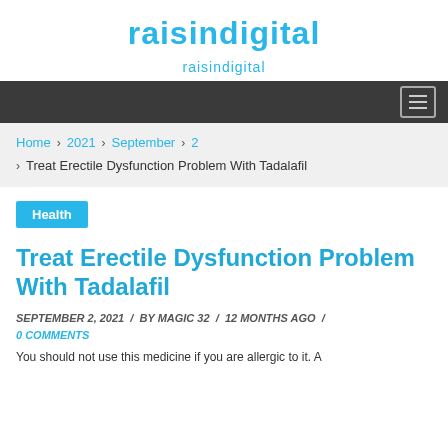raisindigital
raisindigital
Home > 2021 > September > 2 > Treat Erectile Dysfunction Problem With Tadalafil
Health
Treat Erectile Dysfunction Problem With Tadalafil
SEPTEMBER 2, 2021 / BY MAGIC 32 / 12 MONTHS AGO / 0 COMMENTS
You should not use this medicine if you are allergic to it. A